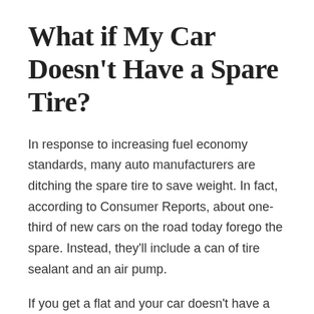What if My Car Doesn't Have a Spare Tire?
In response to increasing fuel economy standards, many auto manufacturers are ditching the spare tire to save weight. In fact, according to Consumer Reports, about one-third of new cars on the road today forego the spare. Instead, they'll include a can of tire sealant and an air pump.
If you get a flat and your car doesn't have a spare tire, try using the provided sealant and reinflate your tire with the compressor. In the event of a small puncture or slow air leak, you may be able to